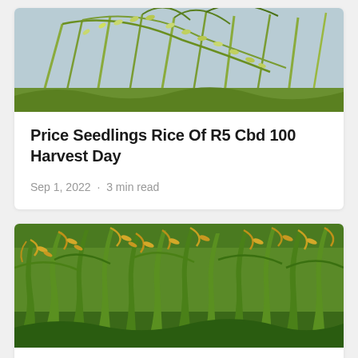[Figure (photo): Close-up of rice plant stalks with pale green/yellow grain heads against a light sky background]
Price Seedlings Rice Of R5 Cbd 100 Harvest Day
Sep 1, 2022 · 3 min read
[Figure (photo): Rice field with lush green stalks and golden ripening grain heads]
Price Seed Rice Of Seroi 1 64 Boyolali 2